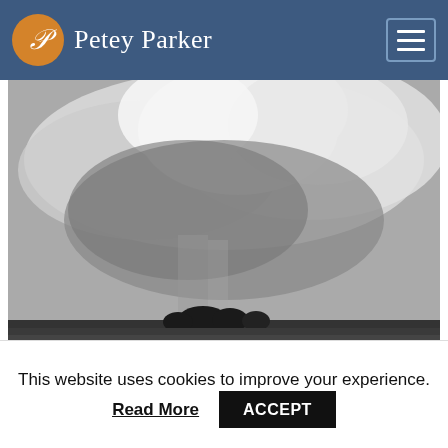Petey Parker
[Figure (photo): Black and white photograph of dramatic storm clouds over a flat landscape with trees silhouetted on the horizon]
For those of us still wondering what the big deal is about Cloud Computing – her is the best
This website uses cookies to improve your experience.
Read More
ACCEPT